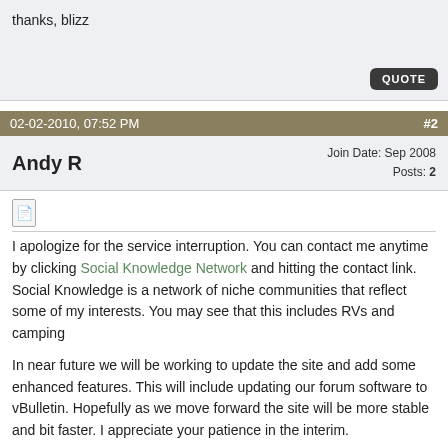thanks, blizz
02-02-2010, 07:52 PM   #2
Andy R   Join Date: Sep 2008   Posts: 2
I apologize for the service interruption. You can contact me anytime by clicking Social Knowledge Network and hitting the contact link. Social Knowledge is a network of niche communities that reflect some of my interests. You may see that this includes RVs and camping

In near future we will be working to update the site and add some enhanced features. This will include updating our forum software to vBulletin. Hopefully as we move forward the site will be more stable and bit faster. I appreciate your patience in the interim.